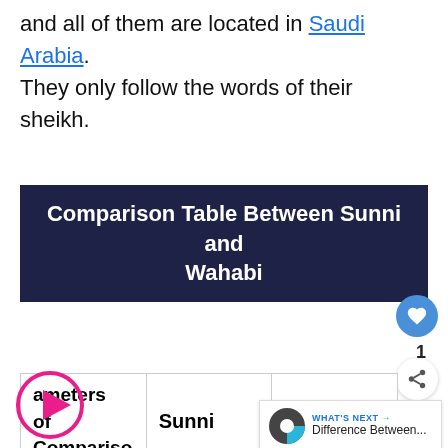and all of them are located in Saudi Arabia. They only follow the words of their sheikh.
Comparison Table Between Sunni and Wahabi
[Figure (screenshot): Partial comparison table showing columns: Parameters of Comparison, Sunni, Wahabi. UI overlays include heart/like button (1), share button, play button, and 'What's Next' widget showing a donut chart icon and 'Difference Between...' text.]